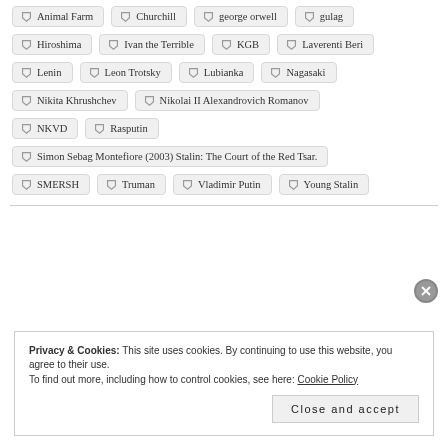Animal Farm
Churchill
george orwell
gulag
Hiroshima
Ivan the Terrible
KGB
Laverenti Beri
Lenin
Leon Trotsky
Lubianka
Nagasaki
Nikita Khrushchev
Nikolai II Alexandrovich Romanov
NKVD
Rasputin
Simon Sebag Montefiore (2003) Stalin: The Court of the Red Tsar.
SMERSH
Truman
Vladimir Putin
Young Stalin
Privacy & Cookies: This site uses cookies. By continuing to use this website, you agree to their use. To find out more, including how to control cookies, see here: Cookie Policy
Close and accept